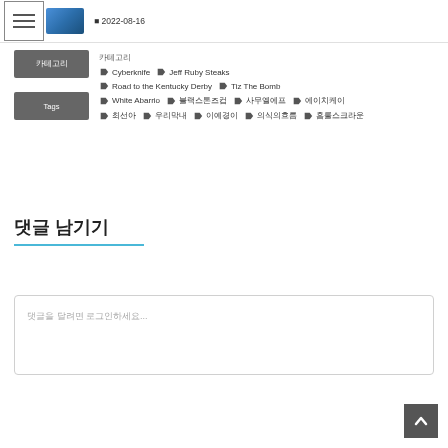2022-08-16
카테고리: 카테고리
Tags: Cyberknife, Jeff Ruby Steaks, Road to the Kentucky Derby, Tiz The Bomb, White Abarrio, 블랙스톤즈컵, 사무엘에프, 에이치케이, 최선아, 우리막내, 이예경이, 의식의흐름
댓글 남기기
댓글을 달려면 로그인하세요...